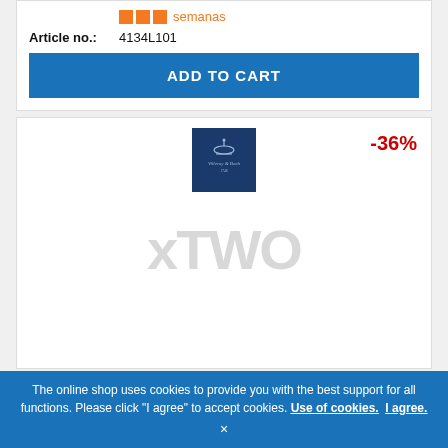semanas
Article no.: 4134L101
ADD TO CART
[Figure (logo): Villeroy & Boch logo on dark blue square background]
-36%
xTWO
The online shop uses cookies to provide you with the best support for all functions. Please click "I agree" to accept cookies. Use of cookies. I agree.